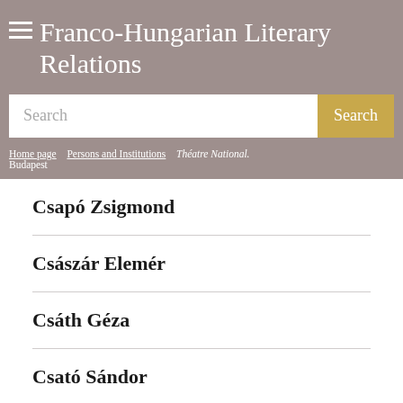Franco-Hungarian Literary Relations
Search
Home page > Persons and Institutions > Théatre National. Budapest
Csapó Zsigmond
Császár Elemér
Csáth Géza
Csató Sándor